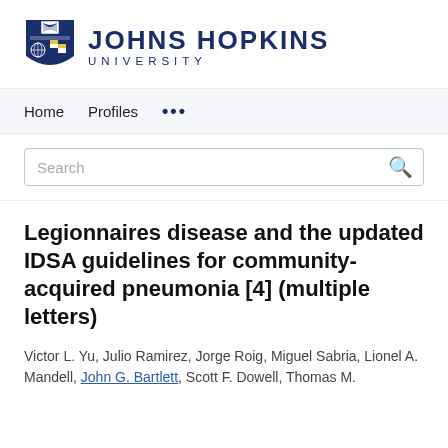[Figure (logo): Johns Hopkins University logo with shield and text]
Home   Profiles   ...
Search
Legionnaires disease and the updated IDSA guidelines for community-acquired pneumonia [4] (multiple letters)
Victor L. Yu, Julio Ramirez, Jorge Roig, Miguel Sabria, Lionel A. Mandell, John G. Bartlett, Scott F. Dowell, Thomas M.